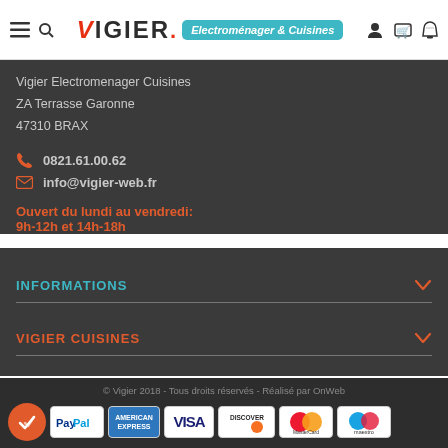[Figure (logo): Vigier Electroménager & Cuisines logo with teal badge]
Vigier Electromenager Cuisines
ZA Terrasse Garonne
47310 BRAX
0821.61.00.62
info@vigier-web.fr
Ouvert du lundi au vendredi:
9h-12h et 14h-18h
INFORMATIONS
VIGIER CUISINES
© Vigier 2018 - Tous droits réservés - Réalisé par OnWeb
[Figure (logo): Payment logos: PayPal, American Express, VISA, Discover, MasterCard, Maestro]